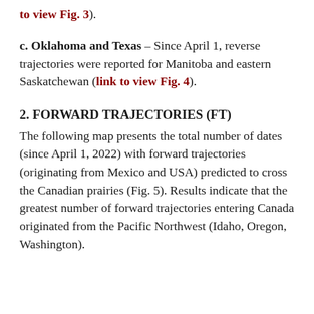to view Fig. 3).
c. Oklahoma and Texas – Since April 1, reverse trajectories were reported for Manitoba and eastern Saskatchewan (link to view Fig. 4).
2. FORWARD TRAJECTORIES (FT)
The following map presents the total number of dates (since April 1, 2022) with forward trajectories (originating from Mexico and USA) predicted to cross the Canadian prairies (Fig. 5). Results indicate that the greatest number of forward trajectories entering Canada originated from the Pacific Northwest (Idaho, Oregon, Washington).